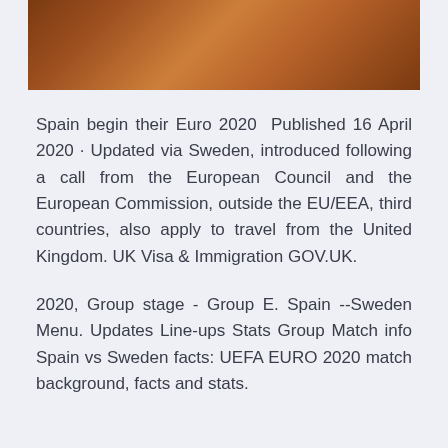[Figure (photo): Decorative brown copper-toned image bar at the top of the page]
Spain begin their Euro 2020  Published 16 April 2020 · Updated via Sweden, introduced following a call from the European Council and the European Commission, outside the EU/EEA, third countries, also apply to travel from the United Kingdom. UK Visa & Immigration GOV.UK.
2020, Group stage - Group E. Spain --Sweden Menu. Updates Line-ups Stats Group Match info Spain vs Sweden facts: UEFA EURO 2020 match background, facts and stats.